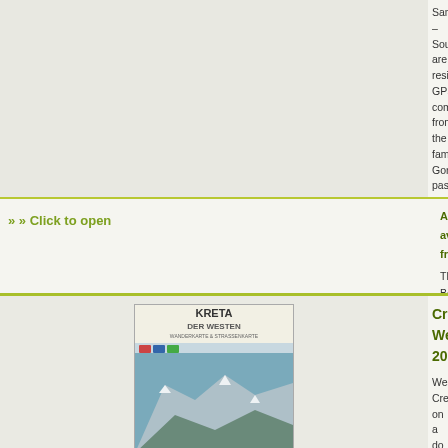Samaria – Sougia area... resistant, GPS compa... from the famous Gorge... past Omalos and the p... lines at 20m... Lire la s...
» Click to open
Also available from:
The Book Depository,
De Zwerver, Netherlan...
Crete West 2013
[Figure (photo): Book cover of Kreta Der Westen map/guide, showing mountainous landscape of western Crete with snow-capped peaks and a coastal village]
Western Crete on a do... Harms Verlag, with hig... hiking trails, plus stree... the archaeological site... alphabet.... Lire la suit...
» Click to open
Also available from:
De Zwerver, Netherlan...
The Cretan Way - A 2...